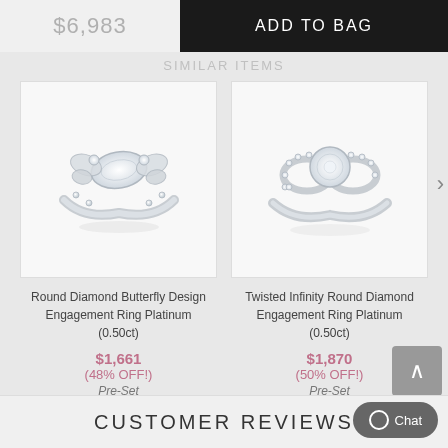$6,983
ADD TO BAG
SIMILAR ITEMS
[Figure (photo): Round Diamond Butterfly Design Engagement Ring in platinum with a marquise center diamond and butterfly side motif with pavé accents]
Round Diamond Butterfly Design Engagement Ring Platinum (0.50ct)
$1,661
(48% OFF!)
Pre-Set
[Figure (photo): Twisted Infinity Round Diamond Engagement Ring in platinum with a round center diamond and interlocking infinity band with pavé diamonds]
Twisted Infinity Round Diamond Engagement Ring Platinum (0.50ct)
$1,870
(50% OFF!)
Pre-Set
CUSTOMER REVIEWS